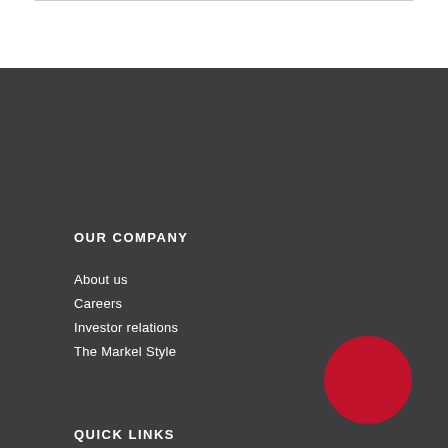OUR COMPANY
About us
Careers
Investor relations
The Markel Style
[Figure (illustration): Red circular button/logo element in bottom right area of dark footer]
QUICK LINKS